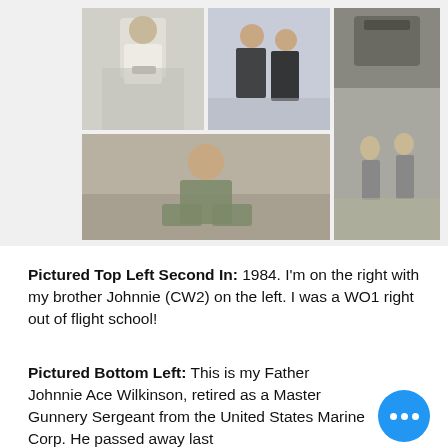[Figure (photo): Collage of four black-and-white and color photographs showing military personnel. Top left: man in white uniform with hat. Top middle: two men in Army dress uniforms. Right large: two people standing in front of a military helicopter. Bottom left: man in military fatigues crouching.]
Pictured Top Left Second In: 1984. I'm on the right with my brother Johnnie (CW2) on the left. I was a WO1 right out of flight school!
Pictured Bottom Left: This is my Father Johnnie Ace Wilkinson, retired as a Master Gunnery Sergeant from the United States Marine Corp. He passed away last